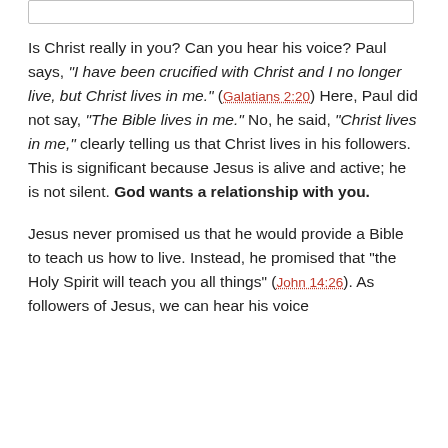Is Christ really in you? Can you hear his voice? Paul says, "I have been crucified with Christ and I no longer live, but Christ lives in me." (Galatians 2:20) Here, Paul did not say, "The Bible lives in me." No, he said, "Christ lives in me," clearly telling us that Christ lives in his followers. This is significant because Jesus is alive and active; he is not silent. God wants a relationship with you.
Jesus never promised us that he would provide a Bible to teach us how to live. Instead, he promised that "the Holy Spirit will teach you all things" (John 14:26). As followers of Jesus, we can hear his voice (continues...). The Holy Spirit is alive to you and will...